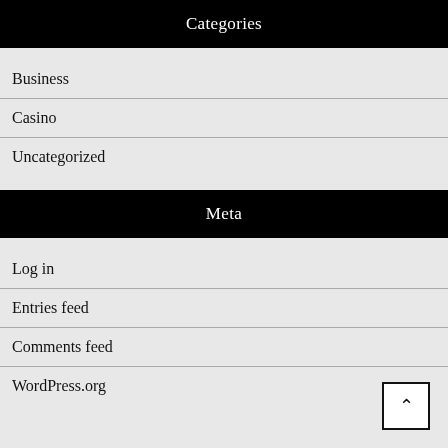Categories
Business
Casino
Uncategorized
Meta
Log in
Entries feed
Comments feed
WordPress.org